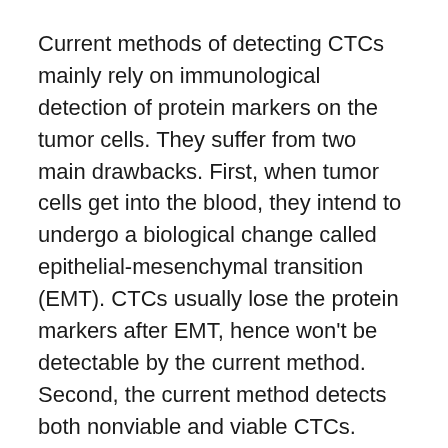Current methods of detecting CTCs mainly rely on immunological detection of protein markers on the tumor cells. They suffer from two main drawbacks. First, when tumor cells get into the blood, they intend to undergo a biological change called epithelial-mesenchymal transition (EMT). CTCs usually lose the protein markers after EMT, hence won’t be detectable by the current method. Second, the current method detects both nonviable and viable CTCs.
“The UniPro method can detect CTCs even after they have undergone EMT, and most importantly, it is the first (and only) CTC detection method that can unambiguously detect live CTC,” said Zhang.
Unambiguously detecting live circulating tumor cells opens the door for many clinical applications, such as